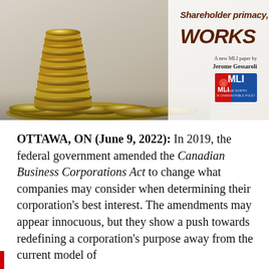[Figure (photo): Banner image showing stacked coins on a beige/tan background with overlaid title text reading 'Shareholder primacy WORKS', author credit 'A new MLI paper by Jerome Gessaroli', and MLI logo (blue and red think-tank branding).]
OTTAWA, ON (June 9, 2022): In 2019, the federal government amended the Canadian Business Corporations Act to change what companies may consider when determining their corporation's best interest. The amendments may appear innocuous, but they show a push towards redefining a corporation's purpose away from the current model of